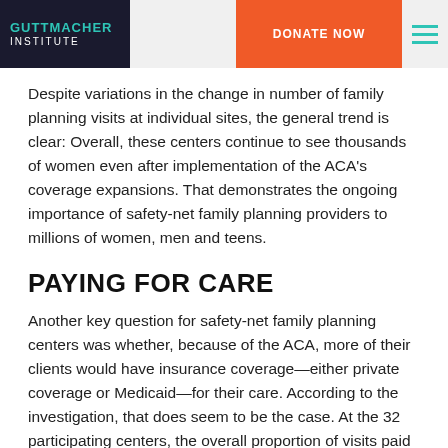GUTTMACHER INSTITUTE | DONATE NOW
Despite variations in the change in number of family planning visits at individual sites, the general trend is clear: Overall, these centers continue to see thousands of women even after implementation of the ACA’s coverage expansions. That demonstrates the ongoing importance of safety-net family planning providers to millions of women, men and teens.
PAYING FOR CARE
Another key question for safety-net family planning centers was whether, because of the ACA, more of their clients would have insurance coverage—either private coverage or Medicaid—for their care. According to the investigation, that does seem to be the case. At the 32 participating centers, the overall proportion of visits paid for with some form of public or private insurance increased from 59% during the last